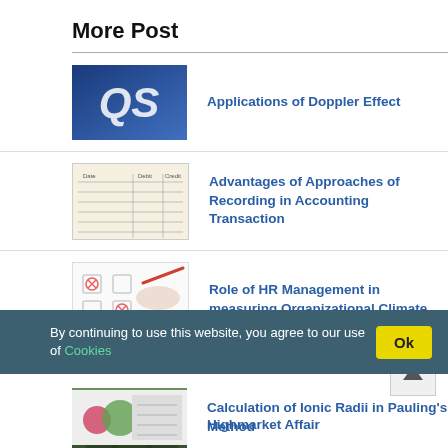More Post
Applications of Doppler Effect
Advantages of Approaches of Recording in Accounting Transaction
Role of HR Management in measuring Organizational Climate
By continuing to use this website, you agree to our use of Cookies
Highmarket Affair
Calculation of Ionic Radii in Pauling's Method